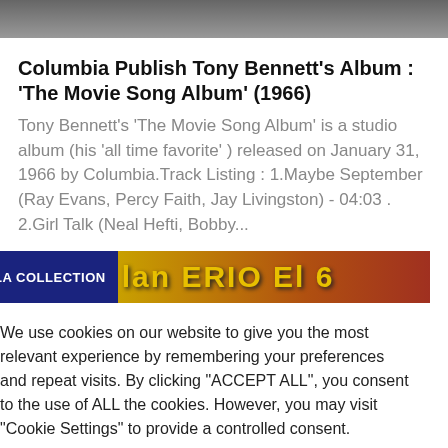[Figure (photo): Top portion of a photograph, partially cropped]
Columbia Publish Tony Bennett's Album : 'The Movie Song Album' (1966)
Tony Bennett's 'The Movie Song Album' is a studio album (his 'all time favorite' ) released on January 31, 1966 by Columbia.Track Listing : 1.Maybe September (Ray Evans, Percy Faith, Jay Livingston) - 04:03 . 2.Girl Talk (Neal Hefti, Bobby...
[Figure (screenshot): Banner row with dark blue 'LA COLLECTION' label on left and stylized yellow text on dark background on right]
We use cookies on our website to give you the most relevant experience by remembering your preferences and repeat visits. By clicking "ACCEPT ALL", you consent to the use of ALL the cookies. However, you may visit "Cookie Settings" to provide a controlled consent.
Cookie Settings    REJECT ALL    ACCEPT ALL